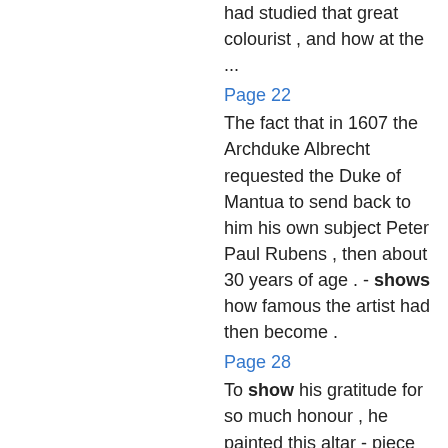had studied that great colourist , and how at the ...
Page 22
The fact that in 1607 the Archduke Albrecht requested the Duke of Mantua to send back to him his own subject Peter Paul Rubens , then about 30 years of age . - shows how famous the artist had then become .
Page 28
To show his gratitude for so much honour , he painted this altar - piece without demanding any remuneration . He gave to it the shape of an. 28 The Lamentation for Christ In the Imperial Museum at Vienna.